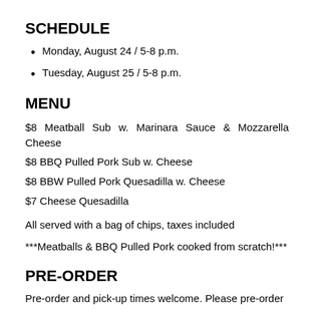SCHEDULE
Monday, August 24 / 5-8 p.m.
Tuesday, August 25 / 5-8 p.m.
MENU
$8 Meatball Sub w. Marinara Sauce & Mozzarella Cheese
$8 BBQ Pulled Pork Sub w. Cheese
$8 BBW Pulled Pork Quesadilla w. Cheese
$7 Cheese Quesadilla
All served with a bag of chips, taxes included
***Meatballs & BBQ Pulled Pork cooked from scratch!***
PRE-ORDER
Pre-order and pick-up times welcome. Please pre-order